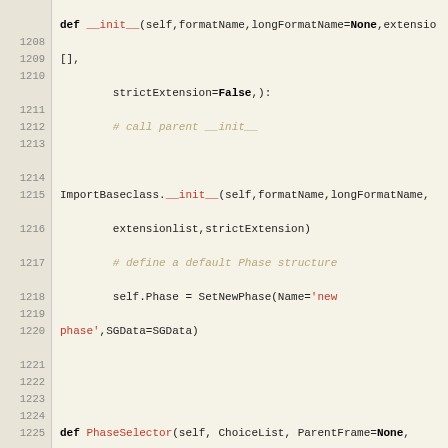[Figure (screenshot): Python source code editor view showing lines 1208-1230 with syntax highlighting. Code shows __init__ method, PhaseSelector method, and ImportStructFactor class definitions.]